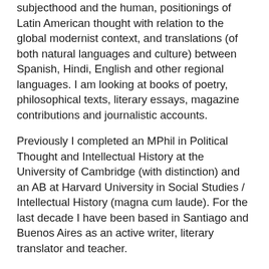subjecthood and the human, positionings of Latin American thought with relation to the global modernist context, and translations (of both natural languages and culture) between Spanish, Hindi, English and other regional languages. I am looking at books of poetry, philosophical texts, literary essays, magazine contributions and journalistic accounts.
Previously I completed an MPhil in Political Thought and Intellectual History at the University of Cambridge (with distinction) and an AB at Harvard University in Social Studies / Intellectual History (magna cum laude). For the last decade I have been based in Santiago and Buenos Aires as an active writer, literary translator and teacher.
I see my creative and academic work as complementary; books I have published include the novel A Furious Oyster, the collection of stories Rhombus and Oval, the collection of essays Other Paradises: Poetic Approaches to Thinking in a Technological Age and the hybrid work A Luminous History of the Palm. In addition, I have